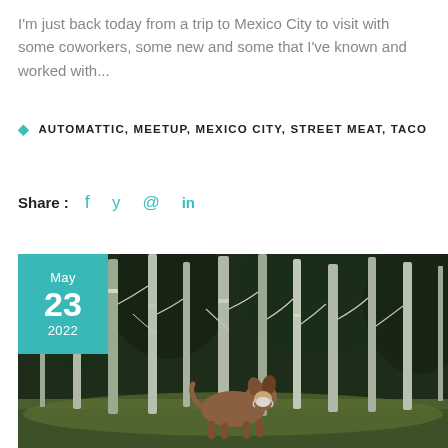I'm just back today from a trip to Mexico City to visit with some coworkers, some new and some that I've known and worked with...
AUTOMATTIC, MEETUP, MEXICO CITY, STREET MEAT, TACO
Share : f y @ in
[Figure (photo): A dog wearing a mask in a dense forest with tall thin trees and mossy ground. Date badge overlay showing May 23 2022.]